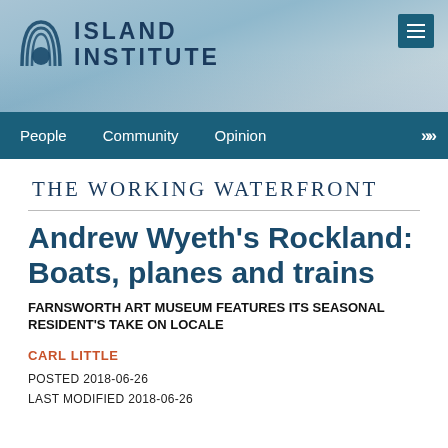[Figure (logo): Island Institute logo with circular wave design and text ISLAND INSTITUTE]
People   Community   Opinion   >>
THE WORKING WATERFRONT
Andrew Wyeth's Rockland: Boats, planes and trains
FARNSWORTH ART MUSEUM FEATURES ITS SEASONAL RESIDENT'S TAKE ON LOCALE
CARL LITTLE
POSTED 2018-06-26
LAST MODIFIED 2018-06-26